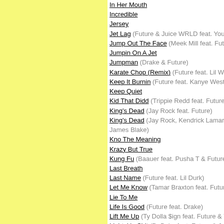In Her Mouth
Incredible
Jersey
Jet Lag (Future & Juice WRLD feat. Young Scooter)
Jump Out The Face (Meek Mill feat. Future)
Jumpin On A Jet
Jumpman (Drake & Future)
Karate Chop (Remix) (Future feat. Lil Wayne)
Keep It Burnin (Future feat. Kanye West)
Keep Quiet
Kid That Didd (Trippie Redd feat. Future & Doe Be)
King's Dead (Jay Rock feat. Future)
King's Dead (Jay Rock, Kendrick Lamar, Future & James Blake)
Kno The Meaning
Krazy But True
Kung Fu (Baauer feat. Pusha T & Future)
Last Breath
Last Name (Future feat. Lil Durk)
Let Me Know (Tamar Braxton feat. Future)
Lie To Me
Life Is Good (Future feat. Drake)
Lift Me Up (Ty Dolla $ign feat. Future & Young Thug)
Lightskin Shit (DaBaby feat. Future & JetsonMade)
Lil Haiti Baby
Lil One
Live From The Gutter (Drake & Future)
Live Off My Closet (Lil Baby feat. Future)
Long Live The Pimp (Future feat. Trae The Truth)
Look Ahead
Lookin Exotic
Love Me (Lil Wayne feat. Drake & Future)
Love You Better
Loveeeeeee Song (Rihanna feat. Future)
Low Life (Future feat. The Weeknd)
Order by year